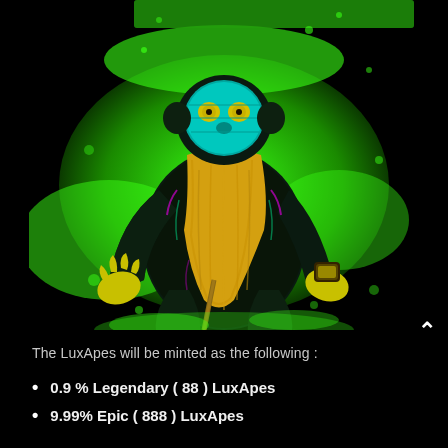[Figure (illustration): NFT-style psychedelic ape illustration with neon green, yellow, teal and purple colors on black background. The ape wears a mask reminiscent of a hockey mask, has a long beard, and sits cross-legged holding a staff or cane. Background has bright neon green splashes.]
The LuxApes will be minted as the following :
0.9 % Legendary ( 88 ) LuxApes
9.99% Epic ( 888 ) LuxApes